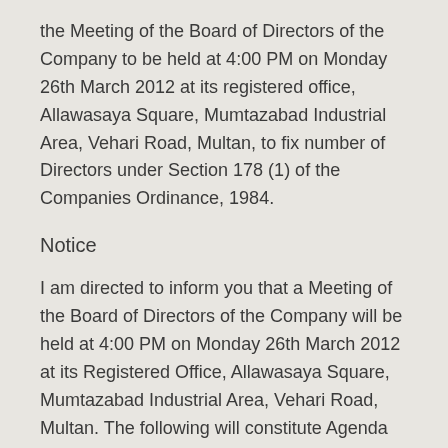the Meeting of the Board of Directors of the Company to be held at 4:00 PM on Monday 26th March 2012 at its registered office, Allawasaya Square, Mumtazabad Industrial Area, Vehari Road, Multan, to fix number of Directors under Section 178 (1) of the Companies Ordinance, 1984.
Notice
I am directed to inform you that a Meeting of the Board of Directors of the Company will be held at 4:00 PM on Monday 26th March 2012 at its Registered Office, Allawasaya Square, Mumtazabad Industrial Area, Vehari Road, Multan. The following will constitute Agenda for the Meeting:
1. To confirm the Minutes of the Board of Directors' Meeting held on 27th February 2012, copy of the draft